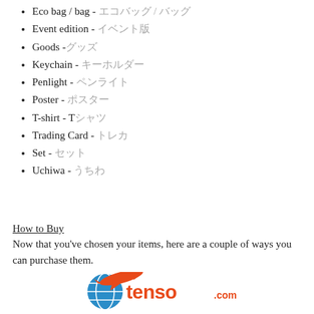Eco bag / bag - エコバッグ / バッグ
Event edition - イベント版
Goods -グッズ
Keychain - キーホルダー
Penlight - ペンライト
Poster - ポスター
T-shirt - Tシャツ
Trading Card - トレカ
Set - セット
Uchiwa - うちわ
How to Buy
Now that you've chosen your items, here are a couple of ways you can purchase them.
[Figure (logo): Tenso.com logo — orange airplane and blue globe with white grid lines, orange text 'tenso' with '.com' in smaller text]